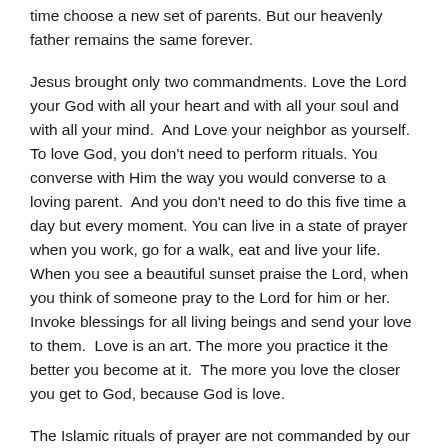time choose a new set of parents. But our heavenly father remains the same forever.
Jesus brought only two commandments. Love the Lord your God with all your heart and with all your soul and with all your mind. And Love your neighbor as yourself. To love God, you don't need to perform rituals. You converse with Him the way you would converse to a loving parent. And you don't need to do this five time a day but every moment. You can live in a state of prayer when you work, go for a walk, eat and live your life. When you see a beautiful sunset praise the Lord, when you think of someone pray to the Lord for him or her. Invoke blessings for all living beings and send your love to them. Love is an art. The more you practice it the better you become at it. The more you love the closer you get to God, because God is love.
The Islamic rituals of prayer are not commanded by our Lord and therefore should not be performed. At best they are meaningless and at worst they are demonic rituals to deceive the foolhardy into thinking they are worshipping God while reciting Satanic verses…